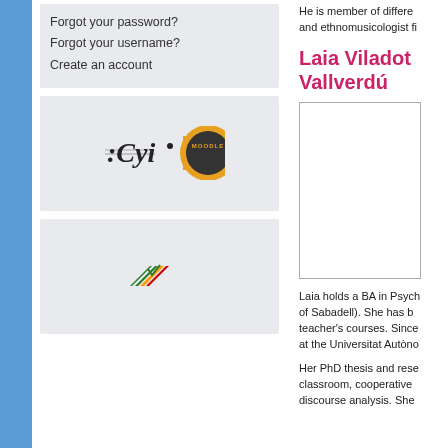Forgot your password?
Forgot your username?
Create an account
[Figure (logo): Music notation logo with Moodle orange circle badge]
[Figure (logo): Colored flag/stripes logo]
He is member of different... and ethnomusicologist fi...
Laia Viladot Vallverdú
[Figure (photo): Author photo placeholder box]
Laia holds a BA in Psych... of Sabadell). She has b... teacher's courses. Since... at the Universitat Autòno...
Her PhD thesis andrese... classroom, cooperative... discourse analysis. She...